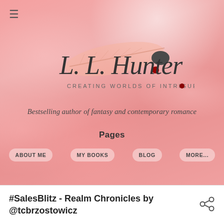[Figure (logo): L. L. Hunter cursive logo with feather illustration and tagline 'CREATING WORLDS OF INTRIGUE' on a pink bokeh background]
Bestselling author of fantasy and contemporary romance
Pages
ABOUT ME
MY BOOKS
BLOG
MORE...
#SalesBlitz - Realm Chronicles by @tcbrzostowicz